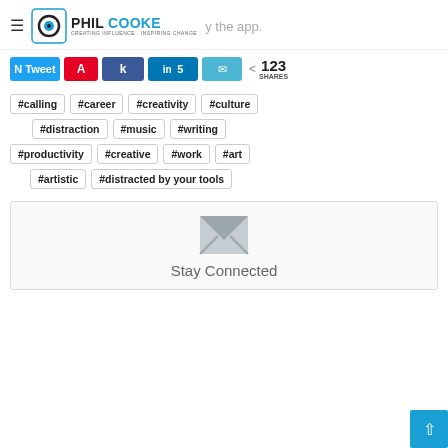Phil Cooke - Creating Influence · Inspiring Change
N Tweet | A Pin | k Share | in 5 | Email | < 123 SHARES
#calling
#career
#creativity
#culture
#distraction
#music
#writing
#productivity
#creative
#work
#art
#artistic
#distracted by your tools
Stay Connected